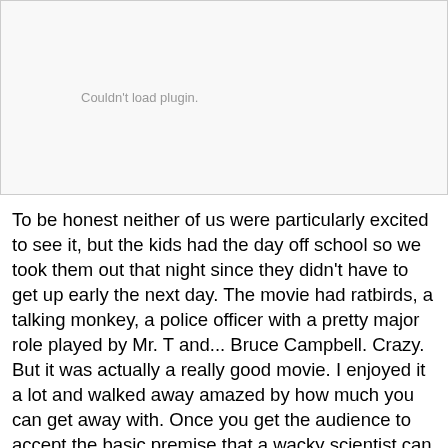[Figure (other): Plugin placeholder area showing 'Couldn't load plugin.' message in gray text on white/light gray background with border]
To be honest neither of us were particularly excited to see it, but the kids had the day off school so we took them out that night since they didn't have to get up early the next day. The movie had ratbirds, a talking monkey, a police officer with a pretty major role played by Mr. T and... Bruce Campbell. Crazy. But it was actually a really good movie. I enjoyed it a lot and walked away amazed by how much you can get away with. Once you get the audience to accept the basic premise that a wacky scientist can turn water into food, well, you can get them to accept pretty much anything that comes